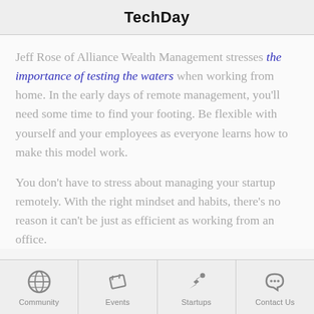TechDay
Jeff Rose of Alliance Wealth Management stresses the importance of testing the waters when working from home. In the early days of remote management, you'll need some time to find your footing. Be flexible with yourself and your employees as everyone learns how to make this model work.
You don't have to stress about managing your startup remotely. With the right mindset and habits, there's no reason it can't be just as efficient as working from an office.
Community | Events | Startups | Contact Us